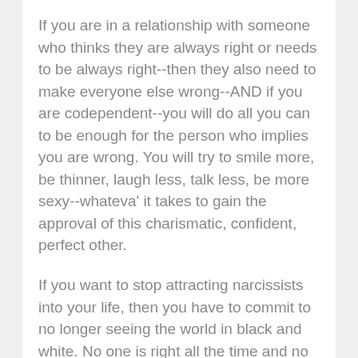If you are in a relationship with someone who thinks they are always right or needs to be always right--then they also need to make everyone else wrong--AND if you are codependent--you will do all you can to be enough for the person who implies you are wrong. You will try to smile more, be thinner, laugh less, talk less, be more sexy--whateva' it takes to gain the approval of this charismatic, confident, perfect other.
If you want to stop attracting narcissists into your life, then you have to commit to no longer seeing the world in black and white. No one is right all the time and no one is wrong all the time. Rather than see things as right and wrong, good or bad, consider asking yourself, "Is this a healthy dynamic or unhealthy one?"